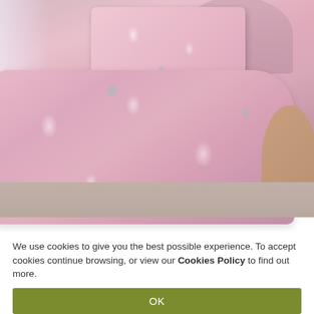[Figure (photo): A child's bed with pink unicorn-patterned duvet/comforter and matching pillowcase. The bedding features white unicorn silhouettes with teal/mint and rainbow accents on a pink background. The bed has a curved headboard, and a round wooden bedside table is visible on the right. A window with light curtains is on the left.]
We use cookies to give you the best possible experience. To accept cookies continue browsing, or view our Cookies Policy to find out more.
OK